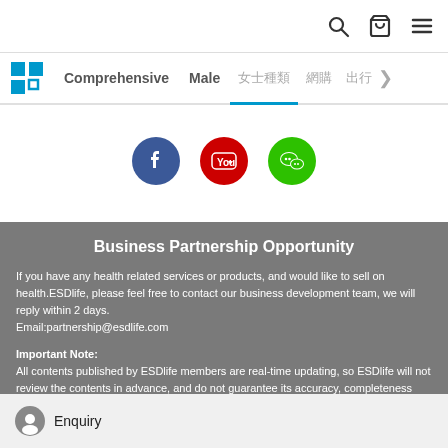Search | Cart | Menu
Comprehensive | Male | [Chinese nav items] >
[Figure (logo): Social media icons row: Facebook (blue circle), YouTube (red circle), WeChat (green circle)]
Business Partnership Opportunity
If you have any health related services or products, and would like to sell on health.ESDlife, please feel free to contact our business development team, we will reply within 2 days.
Email:partnership@esdlife.com
Important Note:
All contents published by ESDlife members are real-time updating, so ESDlife will not review the contents in advance, and do not guarantee its accuracy, completeness and quality. In additions, all the contents published by the members are belonging to their own personal opinions and do not represent the positions and views from ESDlife. ESDlife is not liable to any loss or legal disputes arises from...
Enquiry